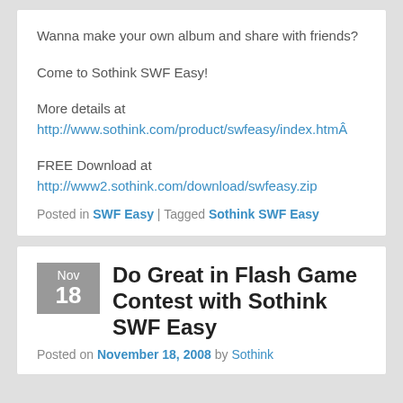Wanna make your own album and share with friends?

Come to Sothink SWF Easy!

More details at
http://www.sothink.com/product/swfeasy/index.htmÂ

FREE Download at
http://www2.sothink.com/download/swfeasy.zip
Posted in SWF Easy | Tagged Sothink SWF Easy
Do Great in Flash Game Contest with Sothink SWF Easy
Posted on November 18, 2008 by Sothink